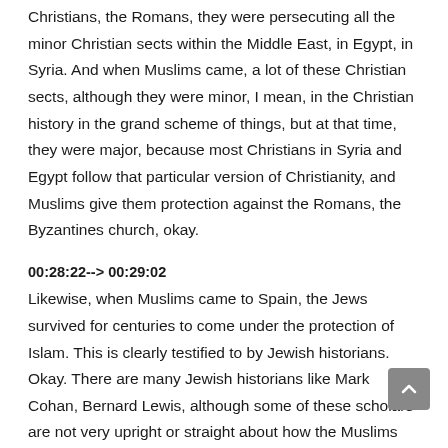Christians, the Romans, they were persecuting all the minor Christian sects within the Middle East, in Egypt, in Syria. And when Muslims came, a lot of these Christian sects, although they were minor, I mean, in the Christian history in the grand scheme of things, but at that time, they were major, because most Christians in Syria and Egypt follow that particular version of Christianity, and Muslims give them protection against the Romans, the Byzantines church, okay.
00:28:22--> 00:29:02
Likewise, when Muslims came to Spain, the Jews survived for centuries to come under the protection of Islam. This is clearly testified to by Jewish historians. Okay. There are many Jewish historians like Mark Cohan, Bernard Lewis, although some of these scholars are not very upright or straight about how the Muslims protected the Jewish people because they have their own biases